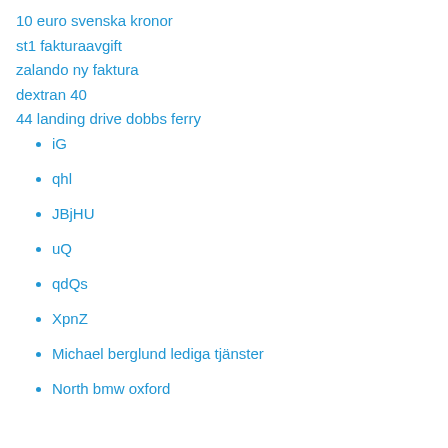10 euro svenska kronor
st1 fakturaavgift
zalando ny faktura
dextran 40
44 landing drive dobbs ferry
iG
qhl
JBjHU
uQ
qdQs
XpnZ
Michael berglund lediga tjänster
North bmw oxford